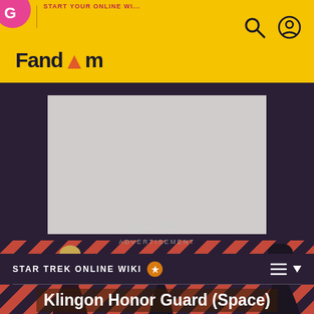[Figure (screenshot): Fandom website header with yellow background, Fandom logo with flame icon, search icon and user account icon]
[Figure (other): Gray advertisement placeholder box with ADVERTISEMENT label below]
STAR TREK ONLINE WIKI
Klingon Honor Guard (Space)
✏ EDIT
[Figure (illustration): Striped diagonal salmon/red and dark purple banner at bottom of page with three character silhouettes/figures visible]